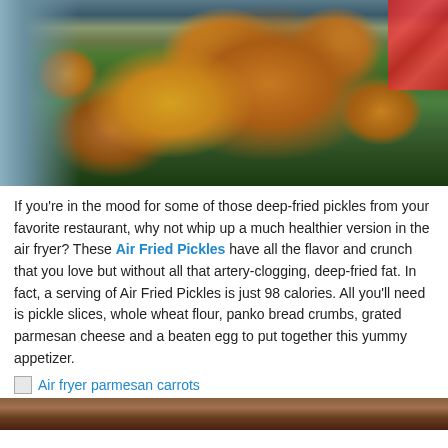[Figure (photo): Overhead photo of a bowl of fried pickles with a dipping sauce in the center, on a blue wooden surface, with a red checkered cloth and forks visible.]
If you’re in the mood for some of those deep-fried pickles from your favorite restaurant, why not whip up a much healthier version in the air fryer? These Air Fried Pickles have all the flavor and crunch that you love but without all that artery-clogging, deep-fried fat. In fact, a serving of Air Fried Pickles is just 98 calories. All you’ll need is pickle slices, whole wheat flour, panko bread crumbs, grated parmesan cheese and a beaten egg to put together this yummy appetizer.
[Figure (photo): Air fryer parmesan carrots image link with partial bottom photo visible.]